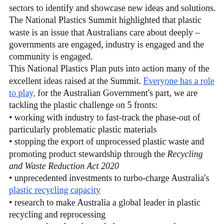sectors to identify and showcase new ideas and solutions. The National Plastics Summit highlighted that plastic waste is an issue that Australians care about deeply – governments are engaged, industry is engaged and the community is engaged.
This National Plastics Plan puts into action many of the excellent ideas raised at the Summit. Everyone has a role to play, for the Australian Government's part, we are tackling the plastic challenge on 5 fronts:
working with industry to fast-track the phase-out of particularly problematic plastic materials
stopping the export of unprocessed plastic waste and promoting product stewardship through the Recycling and Waste Reduction Act 2020
unprecedented investments to turbo-charge Australia's plastic recycling capacity
research to make Australia a global leader in plastic recycling and reprocessing
community education to help consumers make informed decisions and recycle correctly
By working together we are confident Australia can meet the plastic challenge. For more information on the first National Plastics Plan go to